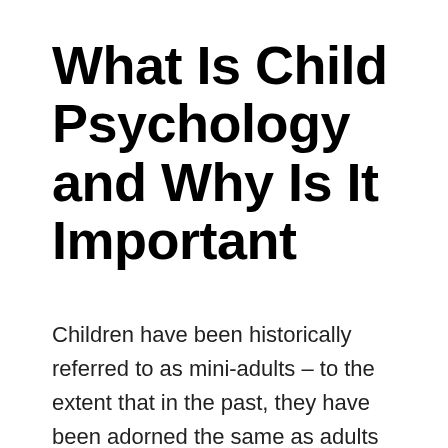What Is Child Psychology and Why Is It Important
Children have been historically referred to as mini-adults – to the extent that in the past, they have been adorned the same as adults and had to work alongside adults in mainstream employment. This is even